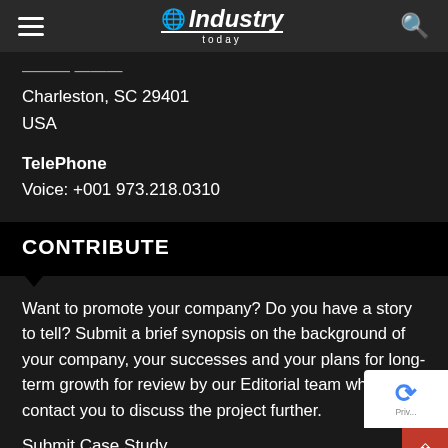Industry today
Charleston, SC 29401
USA
TelePhone
Voice: +001 973.218.0310
CONTRIBUTE
Want to promote your company? Do you have a story to tell? Submit a brief synopsis on the background of your company, your successes and your plans for long-term growth for review by our Editorial team who will contact you to discuss the project further.
Submit Case Study